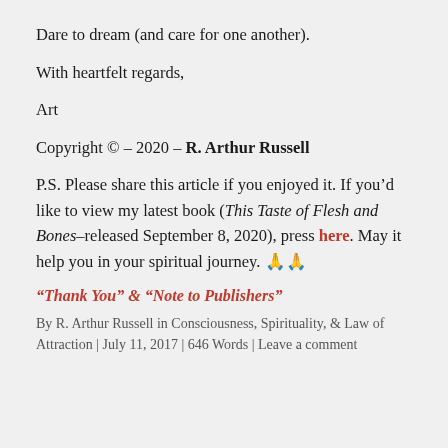Dare to dream (and care for one another).
With heartfelt regards,
Art
Copyright © – 2020 – R. Arthur Russell
P.S. Please share this article if you enjoyed it. If you'd like to view my latest book (This Taste of Flesh and Bones–released September 8, 2020), press here. May it help you in your spiritual journey. 🙏🙏
“Thank You” & “Note to Publishers”
By R. Arthur Russell in Consciousness, Spirituality, & Law of Attraction | July 11, 2017 | 646 Words | Leave a comment